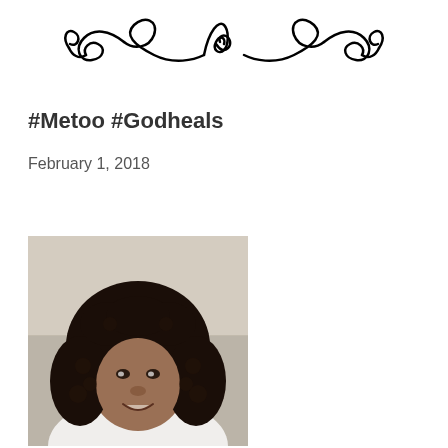[Figure (illustration): Decorative flourish/swirl ornament divider in black on white background]
#Metoo #Godheals
February 1, 2018
[Figure (photo): Portrait photo of a woman with curly dark hair, smiling, wearing a white top, photographed indoors with a light wall in the background]